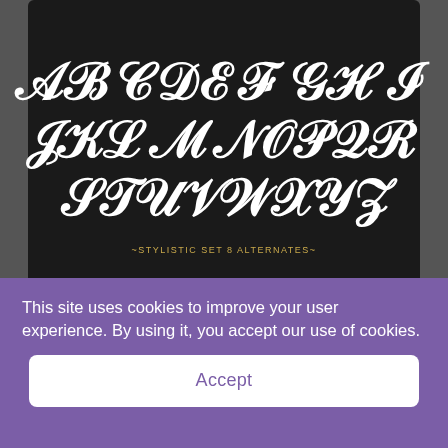[Figure (illustration): Dark background panel showing decorative/stylistic alphabet uppercase letters A-Z in white with ornamental serif font, three rows: ABCDEFGHI, JKLMNOPQR, STUVWXYZ, with label '-STYLISTIC SET 8 ALTERNATES-' in gold below]
[Figure (illustration): Dark background panel showing bold serif font character set: uppercase ABCDEFHIJKLMN OPQRSTUVWXYZ, digits 01234567890, symbols ~`!@#$%^&* and {}  -+={  }[]|\]
This site uses cookies to improve your user experience. By using it, you accept our use of cookies.
Accept